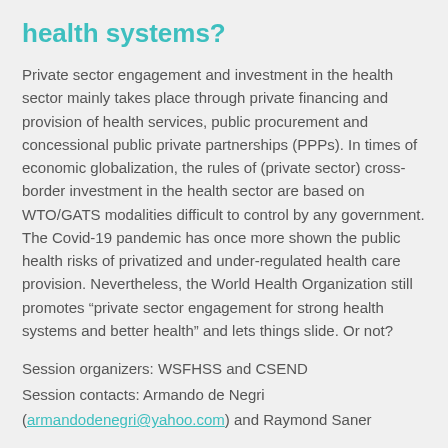health systems?
Private sector engagement and investment in the health sector mainly takes place through private financing and provision of health services, public procurement and concessional public private partnerships (PPPs). In times of economic globalization, the rules of (private sector) cross-border investment in the health sector are based on WTO/GATS modalities difficult to control by any government. The Covid-19 pandemic has once more shown the public health risks of privatized and under-regulated health care provision. Nevertheless, the World Health Organization still promotes “private sector engagement for strong health systems and better health” and lets things slide. Or not?
Session organizers: WSFHSS and CSEND
Session contacts: Armando de Negri
(armandodenegri@yahoo.com) and Raymond Saner